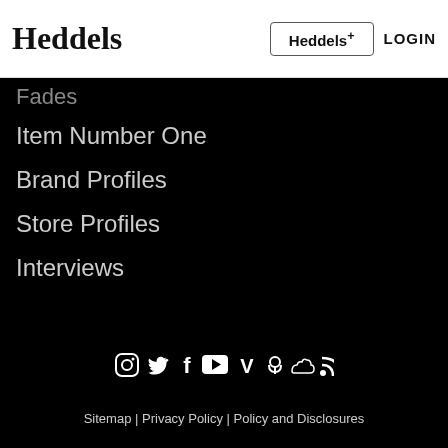Heddels | Heddels+ | LOGIN
Fades
Item Number One
Brand Profiles
Store Profiles
Interviews
[Figure (other): Social media icons: Instagram, Twitter, Facebook, YouTube, Vimeo, Podcast, SoundCloud, RSS]
Sitemap | Privacy Policy | Policy and Disclosures